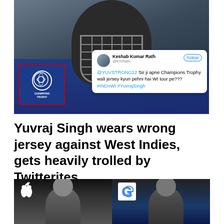[Figure (photo): Cricket player Yuvraj Singh wearing blue India jersey with ICC Champions Trophy logo (highlighted with red box), overlaid with a tweet from @KKRath asking @YUVSTRONG12 why he is wearing Champions Trophy jersey during WI tour]
Yuvraj Singh wears wrong jersey against West Indies, gets heavily trolled by Twitterites.
[Figure (photo): Split image showing Tim Cook (Apple CEO) on the left with Apple logo, and Sundar Pichai (Google CEO) on the right with Google logo]